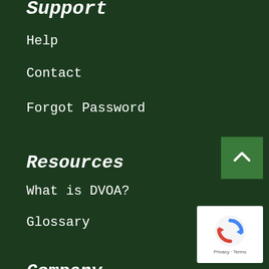Support
Help
Contact
Forgot Password
Resources
What is DVOA?
Glossary
Company
Meet the Outsiders
Careers
Media & Press
Team Services
Our Brands
EdjSports